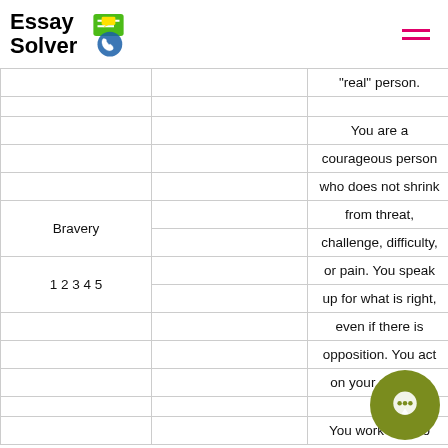Essay Solver
|  |  |  |
| --- | --- | --- |
|  |  | "real" person. |
|  |  |  |
|  |  | You are a |
|  |  | courageous person |
|  |  | who does not shrink |
| Bravery |  | from threat, |
|  |  | challenge, difficulty, |
| 1 2 3 4 5 |  | or pain. You speak |
|  |  | up for what is right, |
|  |  | even if there is |
|  |  | opposition. You act |
|  |  | on your convic... |
|  |  | You work hard to |